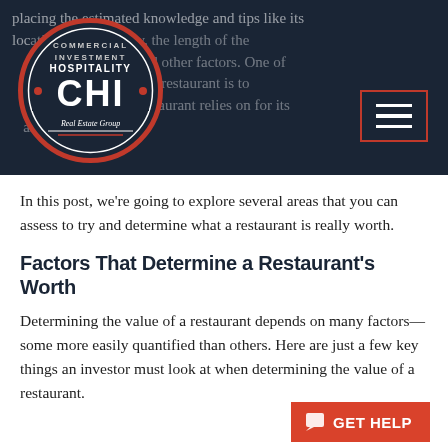placing the estimated knowledge and tips like its location, the economy, the length of the operation, and other factors. One of the best ways to value a restaurant is to look at the sources the restaurant relies on for its annual...
[Figure (logo): CHI Commercial Investment Hospitality Real Estate Group circular logo with red and white design on dark background]
In this post, we're going to explore several areas that you can assess to try and determine what a restaurant is really worth.
Factors That Determine a Restaurant's Worth
Determining the value of a restaurant depends on many factors—some more easily quantified than others. Here are just a few key things an investor must look at when determining the value of a restaurant.